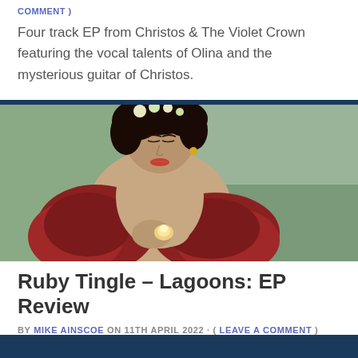COMMENT )
Four track EP from Christos & The Violet Crown featuring the vocal talents of Olina and the mysterious guitar of Christos.
[Figure (photo): A woman with dark curly hair wearing a flower crown and red ruffled top, looking down at something glowing in her hands, against a green background.]
Ruby Tingle – Lagoons: EP Review
BY MIKE AINSCOE ON 11TH APRIL 2022 · ( LEAVE A COMMENT )